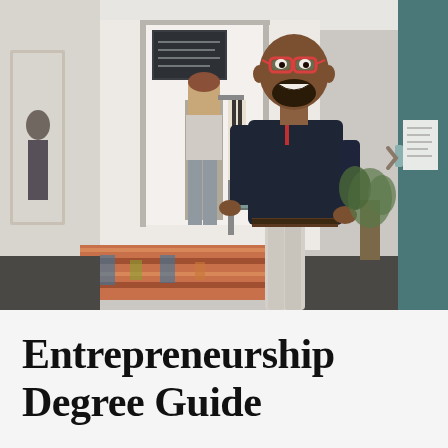[Figure (photo): A smiling Black man wearing red-rimmed glasses and a dark navy shirt, leaning against a teal door frame inside a retail boutique store. Another person (woman with red hair) is visible in the background browsing clothing racks. The store has a warm, bright interior with mirrors and colorful rugs on the floor.]
Entrepreneurship Degree Guide